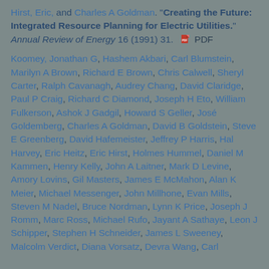Hirst, Eric, and Charles A Goldman. "Creating the Future: Integrated Resource Planning for Electric Utilities." Annual Review of Energy 16 (1991) 31.  PDF
Koomey, Jonathan G, Hashem Akbari, Carl Blumstein, Marilyn A Brown, Richard E Brown, Chris Calwell, Sheryl Carter, Ralph Cavanagh, Audrey Chang, David Claridge, Paul P Craig, Richard C Diamond, Joseph H Eto, William Fulkerson, Ashok J Gadgil, Howard S Geller, José Goldemberg, Charles A Goldman, David B Goldstein, Steve E Greenberg, David Hafemeister, Jeffrey P Harris, Hal Harvey, Eric Heitz, Eric Hirst, Holmes Hummel, Daniel M Kammen, Henry Kelly, John A Laitner, Mark D Levine, Amory Lovins, Gil Masters, James E McMahon, Alan K Meier, Michael Messenger, John Millhone, Evan Mills, Steven M Nadel, Bruce Nordman, Lynn K Price, Joseph J Romm, Marc Ross, Michael Rufo, Jayant A Sathaye, Leon J Schipper, Stephen H Schneider, James L Sweeney, Malcolm Verdict, Diana Vorsatz, Devra Wang, Carl